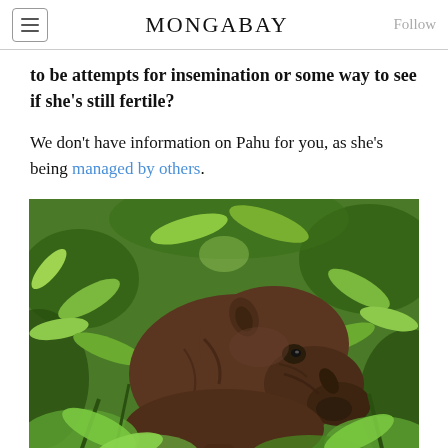MONGABAY
to be attempts for insemination or some way to see if she's still fertile?
We don't have information on Pahu for you, as she's being managed by others.
[Figure (photo): A Sumatran rhinoceros standing among green tropical vegetation, viewed from the front-right angle. The rhino has dark brownish-gray skin and a prominent snout, surrounded by lush green leaves.]